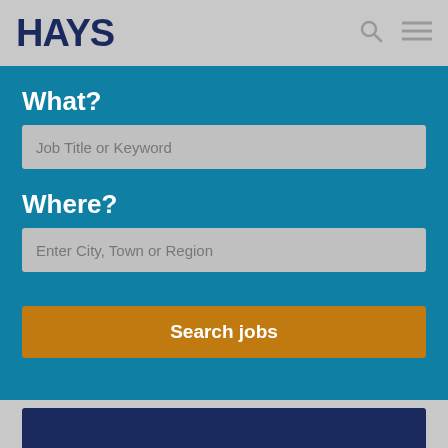[Figure (logo): HAYS recruitment company logo in dark navy blue bold text]
What?
Job Title or Keyword
Where?
Enter City, Town or Region
Search jobs